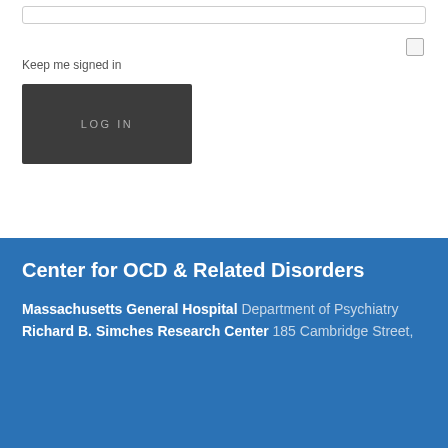[Figure (screenshot): A login form UI showing an input field at top, a checkbox aligned right with label 'Keep me signed in' below, and a dark LOGIN button.]
Keep me signed in
LOG IN
Center for OCD & Related Disorders
Massachusetts General Hospital Department of Psychiatry Richard B. Simches Research Center 185 Cambridge Street,